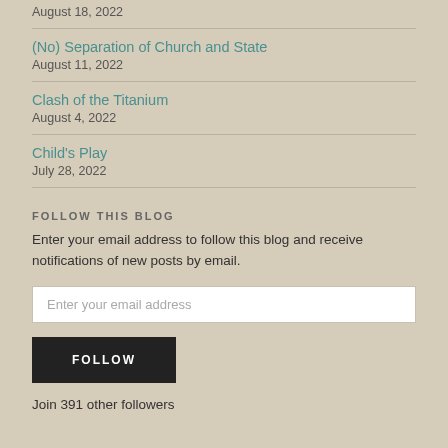August 18, 2022
(No) Separation of Church and State
August 11, 2022
Clash of the Titanium
August 4, 2022
Child's Play
July 28, 2022
FOLLOW THIS BLOG
Enter your email address to follow this blog and receive notifications of new posts by email.
Enter your email address
FOLLOW
Join 391 other followers